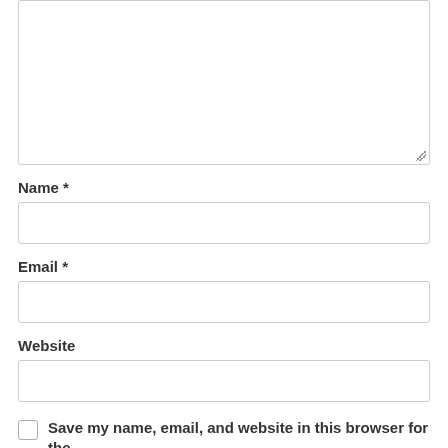[Figure (screenshot): Textarea input box with resize handle at bottom-right corner]
Name *
[Figure (screenshot): Name text input field, empty]
Email *
[Figure (screenshot): Email text input field, empty]
Website
[Figure (screenshot): Website text input field, empty]
Save my name, email, and website in this browser for the